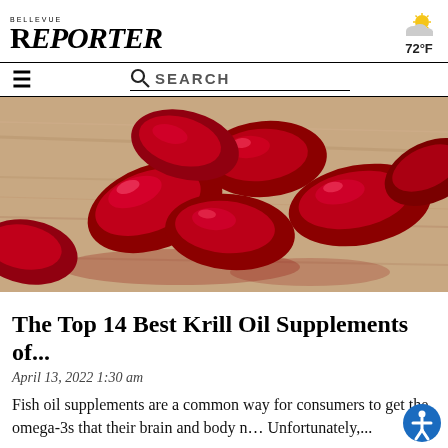BELLEVUE REPORTER
72°F
[Figure (photo): Red krill oil supplement capsules scattered on a wooden surface]
The Top 14 Best Krill Oil Supplements of...
April 13, 2022 1:30 am
Fish oil supplements are a common way for consumers to get the omega-3s that their brain and body n… Unfortunately,...